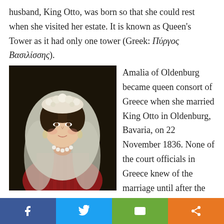husband, King Otto, was born so that she could rest when she visited her estate. It is known as Queen's Tower as it had only one tower (Greek: Πύργος Βασιλίσσης).
[Figure (photo): Portrait painting of Amalia of Oldenburg wearing a jeweled crown/headdress, white veil, pearl necklace, and red dress.]
Amalia of Oldenburg became queen consort of Greece when she married King Otto in Oldenburg, Bavaria, on 22 November 1836. None of the court officials in Greece knew of the marriage until after the return of King Otto with his 18-year-old bride to Athens in 1837. Although she won the hearts of the Greeks with her refreshing beauty and her adoption of the Greek traditional dress that became known as Amalia (Greek: Αμαλία) as her formal
Social share bar: Facebook, Twitter, Email, Share